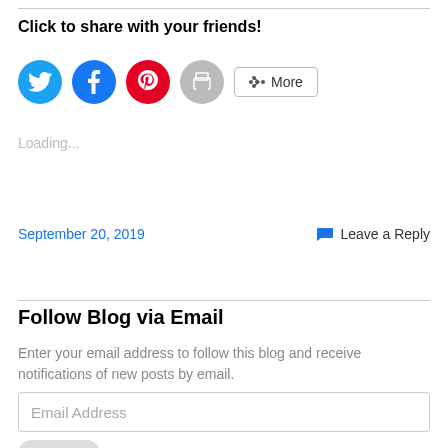Click to share with your friends!
[Figure (infographic): Social share buttons: Twitter (blue circle), Facebook (blue circle), Pinterest (red circle), Print (gray circle), and More button with share icon]
Loading...
September 20, 2019
Leave a Reply
Follow Blog via Email
Enter your email address to follow this blog and receive notifications of new posts by email.
Email Address